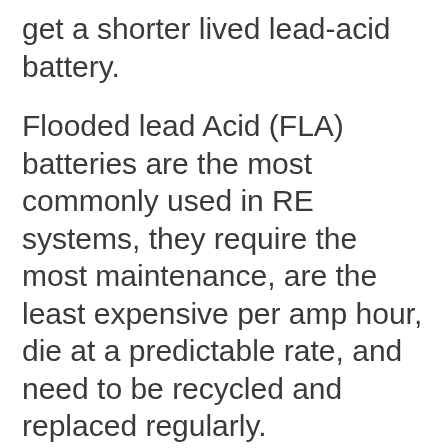get a shorter lived lead-acid battery.
Flooded lead Acid (FLA) batteries are the most commonly used in RE systems, they require the most maintenance, are the least expensive per amp hour, die at a predictable rate, and need to be recycled and replaced regularly.
AGM (absorbed glass mat) lead-acid batteries are similar